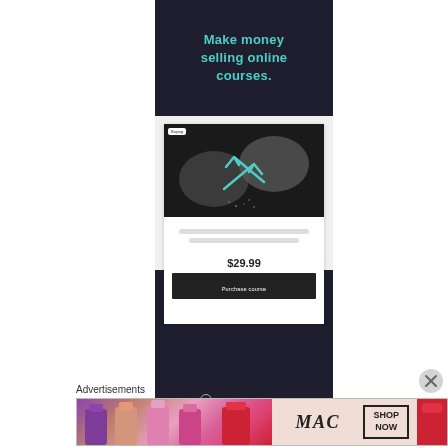[Figure (screenshot): Dark banner with teal text reading 'Make money selling online courses.']
[Figure (screenshot): Course card UI showing hands image, price $29.99, and a 'Purchase course' button on a dark background with Powered by WordPress.com footer]
Advertisements
[Figure (illustration): MAC cosmetics advertisement banner showing colorful lipsticks, MAC logo, and SHOP NOW box]